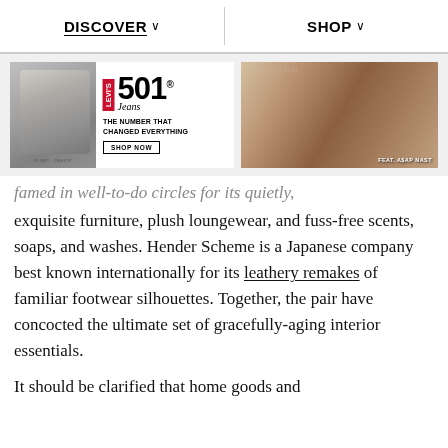DISCOVER ∨   SHOP ∨
[Figure (photo): Levi's 501 Jeans advertisement banner on the left showing a black and white photo of a person and the Levi's 501 logo with text 'THE NUMBER THAT CHANGED EVERYTHING' and a 'SHOP NOW' button; on the right, a fashion photo of a man in jeans lounging with text 'FEAT. ASAP NAST']
famed in well-to-do circles for its quietly, exquisite furniture, plush loungewear, and fuss-free scents, soaps, and washes. Hender Scheme is a Japanese company best known internationally for its leathery remakes of familiar footwear silhouettes. Together, the pair have concocted the ultimate set of gracefully-aging interior essentials.
It should be clarified that home goods and